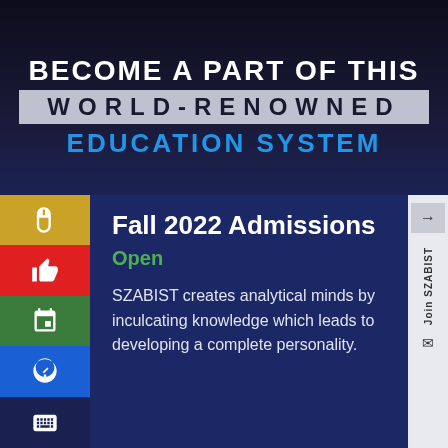BECOME A PART OF THIS WORLD-RENOWNED EDUCATION SYSTEM
Fall 2022 Admissions
Open
SZABIST creates analytical minds by inculcating knowledge which leads to developing a complete personality.